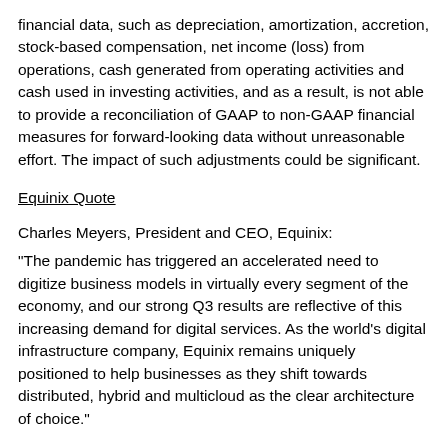financial data, such as depreciation, amortization, accretion, stock-based compensation, net income (loss) from operations, cash generated from operating activities and cash used in investing activities, and as a result, is not able to provide a reconciliation of GAAP to non-GAAP financial measures for forward-looking data without unreasonable effort. The impact of such adjustments could be significant.
Equinix Quote
Charles Meyers, President and CEO, Equinix:
"The pandemic has triggered an accelerated need to digitize business models in virtually every segment of the economy, and our strong Q3 results are reflective of this increasing demand for digital services. As the world's digital infrastructure company, Equinix remains uniquely positioned to help businesses as they shift towards distributed, hybrid and multicloud as the clear architecture of choice."
Business Highlights
Equinix continued to extend its global platform both